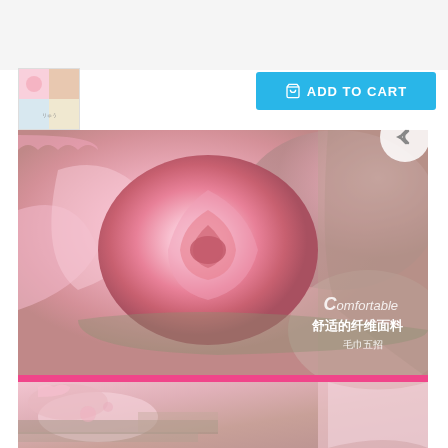[Figure (screenshot): E-commerce product page screenshot showing a pink fabric/blanket product with Chinese text overlay reading 'Comfortable 舒适的纤维面料 毛巾五招', an 'ADD TO CART' button in blue, a product thumbnail in upper left, and a back navigation arrow.]
[Figure (photo): Close-up photo of pink fabric twisted into a rose shape, showing texture detail with Chinese text overlay 'Comfortable 舒适的纤维面料 毛巾五招']
[Figure (photo): Lower section of the product page showing another close-up of the pink fabric with printed anime/cartoon design pattern]